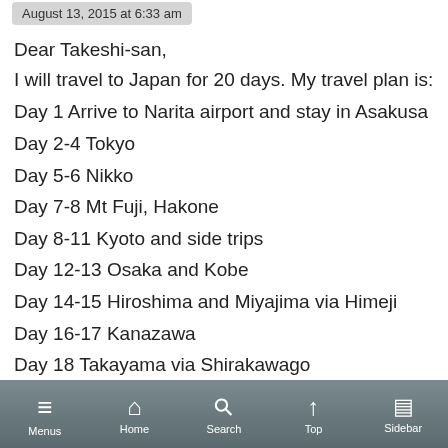August 13, 2015 at 6:33 am
Dear Takeshi-san,
I will travel to Japan for 20 days. My travel plan is:
Day 1 Arrive to Narita airport and stay in Asakusa
Day 2-4 Tokyo
Day 5-6 Nikko
Day 7-8 Mt Fuji, Hakone
Day 8-11 Kyoto and side trips
Day 12-13 Osaka and Kobe
Day 14-15 Hiroshima and Miyajima via Himeji
Day 16-17 Kanazawa
Day 18 Takayama via Shirakawago
Day 19 Back to Tokyo from Takayama
Day 20 Fly back from Narita airport
Menus  Home  Search  Top  Sidebar